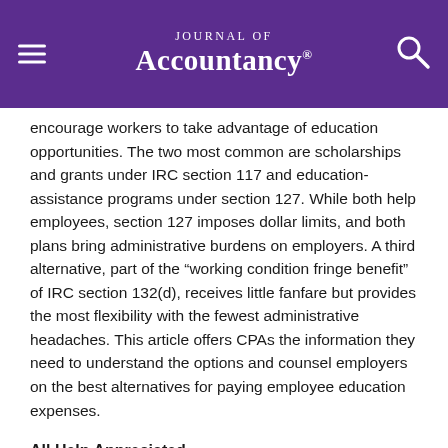Journal of Accountancy
encourage workers to take advantage of education opportunities. The two most common are scholarships and grants under IRC section 117 and education-assistance programs under section 127. While both help employees, section 127 imposes dollar limits, and both plans bring administrative burdens on employers. A third alternative, part of the “working condition fringe benefit” of IRC section 132(d), receives little fanfare but provides the most flexibility with the fewest administrative headaches. This article offers CPAs the information they need to understand the options and counsel employers on the best alternatives for paying employee education expenses.
All Help Appreciated
[Figure (other): Advertisement banner: 2022 Payroll Update Report. Click to Download. Colorful gradient background with teal, green, yellow hues.]